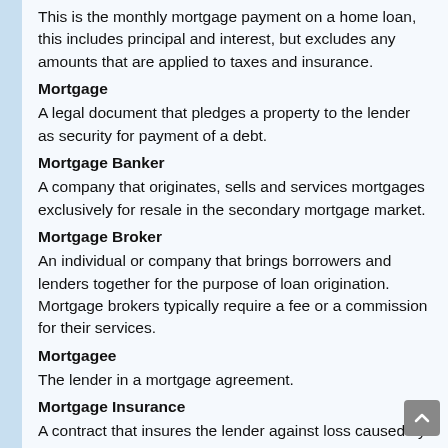This is the monthly mortgage payment on a home loan, this includes principal and interest, but excludes any amounts that are applied to taxes and insurance.
Mortgage
A legal document that pledges a property to the lender as security for payment of a debt.
Mortgage Banker
A company that originates, sells and services mortgages exclusively for resale in the secondary mortgage market.
Mortgage Broker
An individual or company that brings borrowers and lenders together for the purpose of loan origination. Mortgage brokers typically require a fee or a commission for their services.
Mortgagee
The lender in a mortgage agreement.
Mortgage Insurance
A contract that insures the lender against loss caused by a borrower's default on a government mortgage or conventional mortgage. Mortgage insurance can be issued